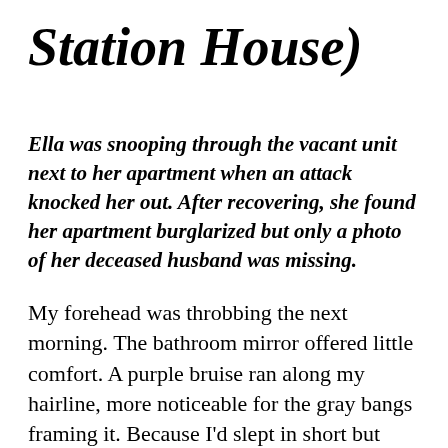Station House)
Ella was snooping through the vacant unit next to her apartment when an attack knocked her out. After recovering, she found her apartment burglarized but only a photo of her deceased husband was missing.
My forehead was throbbing the next morning. The bathroom mirror offered little comfort. A purple bruise ran along my hairline, more noticeable for the gray bangs framing it. Because I'd slept in short but